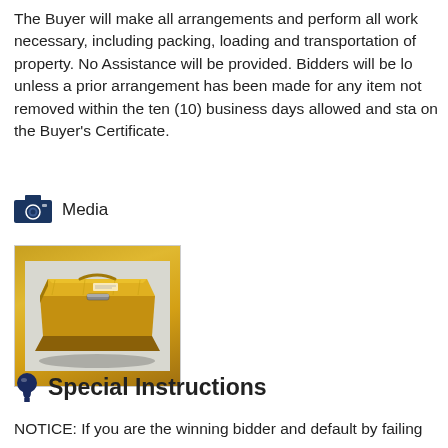The Buyer will make all arrangements and perform all work necessary, including packing, loading and transportation of property. No Assistance will be provided. Bidders will be lo unless a prior arrangement has been made for any item not removed within the ten (10) business days allowed and sta on the Buyer's Certificate.
Media
[Figure (photo): A yellow hard-shell equipment case (like a Pelican case) closed, photographed from above at a slight angle on a light background.]
Special Instructions
NOTICE: If you are the winning bidder and default by failing